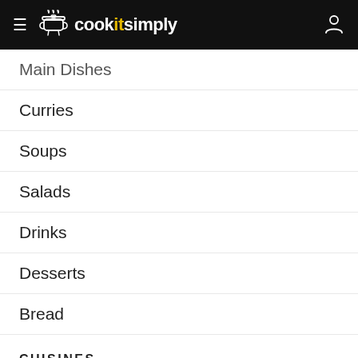cookitsimply
Main Dishes
Curries
Soups
Salads
Drinks
Desserts
Bread
CUISINES
American
British
French
Italian